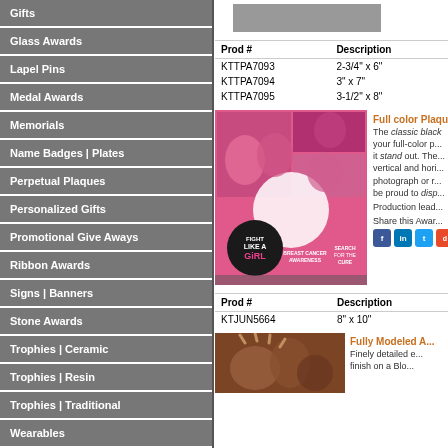Gifts
Glass Awards
Lapel Pins
Medal Awards
Memorials
Name Badges | Plates
Perpetual Plaques
Personalized Gifts
Promotional Give Aways
Ribbon Awards
Signs | Banners
Stone Awards
Trophies | Ceramic
Trophies | Resin
Trophies | Traditional
Wearables
[Figure (photo): Gray product image placeholder at top]
| Prod # | Description |
| --- | --- |
| KTTPA7093 | 2-3/4" x 6" |
| KTTPA7094 | 3" x 7" |
| KTTPA7095 | 3-1/2" x 8" |
[Figure (photo): Full color plaque with breast cancer awareness imagery - Fight Like a Girl]
Full color Plaque
The classic black ... your full-color p... it stand out. The... vertical and hori... photograph or r... be proud to disp...
Production lead...
Share this Awar...
| Prod # | Description |
| --- | --- |
| KTJUN5664 | 8" x 10" |
[Figure (photo): Fully Modeled Award - bronze/copper hands detail]
Fully Modeled A...
Finely detailed e... finish on a Blo...